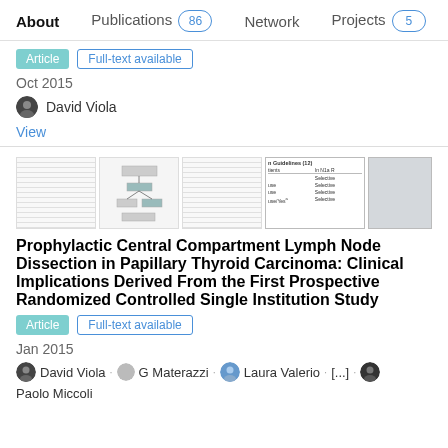About  Publications 86  Network  Projects 5
Article  Full-text available
Oct 2015
David Viola
View
[Figure (screenshot): Thumbnail images of a research paper showing tables and guidelines]
Prophylactic Central Compartment Lymph Node Dissection in Papillary Thyroid Carcinoma: Clinical Implications Derived From the First Prospective Randomized Controlled Single Institution Study
Article  Full-text available
Jan 2015
David Viola · G Materazzi · Laura Valerio · [...] · Paolo Miccoli